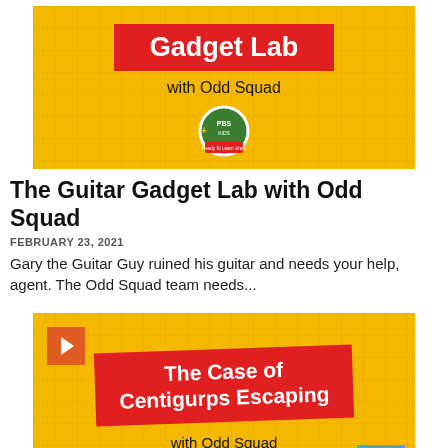[Figure (screenshot): Thumbnail for 'Gadget Lab with Odd Squad' — yellow grid background, red banner with white text 'Gadget Lab', subtitle 'with Odd Squad', PBS Kids logo badge with Ready to Learn grant mark]
The Guitar Gadget Lab with Odd Squad
FEBRUARY 23, 2021
Gary the Guitar Guy ruined his guitar and needs your help, agent. The Odd Squad team needs...
[Figure (screenshot): Thumbnail for 'The Case of Centigurps Escaping with Odd Squad' — yellow grid background, orange play button top-left, red angled banner with white text 'The Case of Centigurps Escaping', subtitle 'with Odd Squad', PBS Kids logo badge, scroll-to-top button bottom-right]